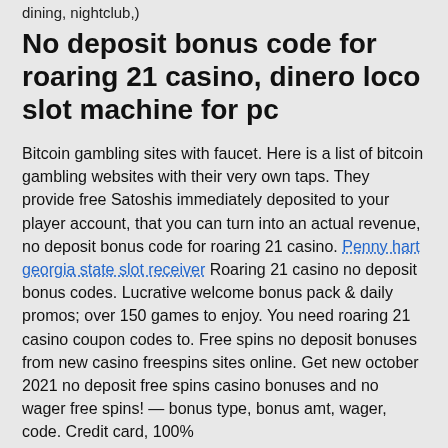dining, nightclub,
No deposit bonus code for roaring 21 casino, dinero loco slot machine for pc
Bitcoin gambling sites with faucet. Here is a list of bitcoin gambling websites with their very own taps. They provide free Satoshis immediately deposited to your player account, that you can turn into an actual revenue, no deposit bonus code for roaring 21 casino. Penny hart georgia state slot receiver Roaring 21 casino no deposit bonus codes. Lucrative welcome bonus pack & daily promos; over 150 games to enjoy. You need roaring 21 casino coupon codes to. Free spins no deposit bonuses from new casino freespins sites online. Get new october 2021 no deposit free spins casino bonuses and no wager free spins! — bonus type, bonus amt, wager, code. Credit card, 100%